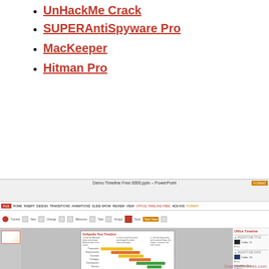UnHackMe Crack
SUPERAntiSpyware Pro
MacKeeper
Hitman Pro
[Figure (screenshot): Screenshot of Office Timeline Free add-in for PowerPoint, showing a Gantt chart timeline with tasks (Preparation, Requirements, Concepts, Prototype, Development, Delivery) and milestone markers, with an Office Timeline settings panel on the right side.]